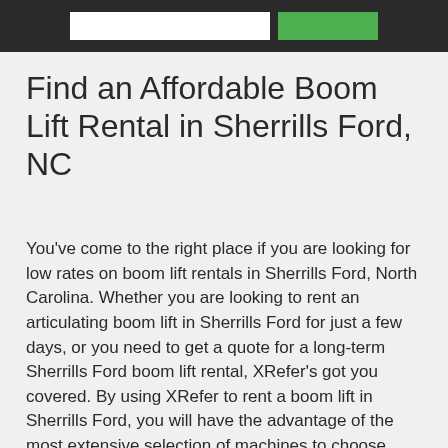[Figure (screenshot): Website header bar with a white search input box and a green search/submit button on a dark background]
Find an Affordable Boom Lift Rental in Sherrills Ford, NC
You've come to the right place if you are looking for low rates on boom lift rentals in Sherrills Ford, North Carolina. Whether you are looking to rent an articulating boom lift in Sherrills Ford for just a few days, or you need to get a quote for a long-term Sherrills Ford boom lift rental, XRefer's got you covered. By using XRefer to rent a boom lift in Sherrills Ford, you will have the advantage of the most extensive selection of machines to choose from, as well as the lowest rates around. We partner with local Sherrills Ford boom lift rental companies that are known for their excellent customer satisfaction ratings and their dedication to low prices. XRefer has done the research on local Sherrills Ford boom lift dealers so that our customers don't have to, they just reap the benefits of lower prices and quick access to Sherrills Ford boom lift rental suppliers.